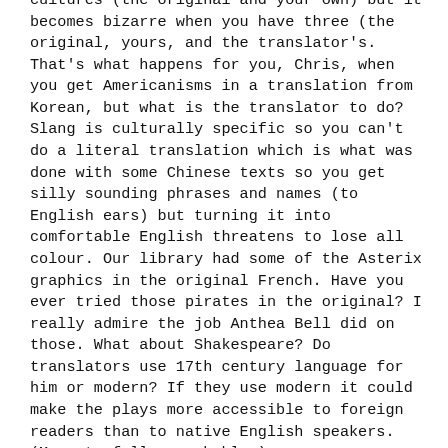cultures (the original and your own) but it becomes bizarre when you have three (the original, yours, and the translator's. That's what happens for you, Chris, when you get Americanisms in a translation from Korean, but what is the translator to do? Slang is culturally specific so you can't do a literal translation which is what was done with some Chinese texts so you get silly sounding phrases and names (to English ears) but turning it into comfortable English threatens to lose all colour. Our library had some of the Asterix graphics in the original French. Have you ever tried those pirates in the original? I really admire the job Anthea Bell did on those. What about Shakespeare? Do translators use 17th century language for him or modern? If they use modern it could make the plays more accessible to foreign readers than to native English speakers. (More to follow probably.)